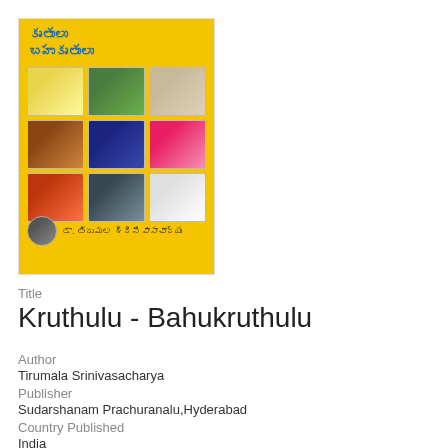[Figure (photo): Book cover of 'Kruthulu - Bahukruthulu' with yellow background, Telugu title text at top, a 3x3 grid of mini book covers in the middle, and author name in Telugu at the bottom.]
Title
Kruthulu - Bahukruthulu
Author
Tirumala Srinivasacharya
Publisher
Sudarshanam Prachuranalu,Hyderabad
Country Published
India